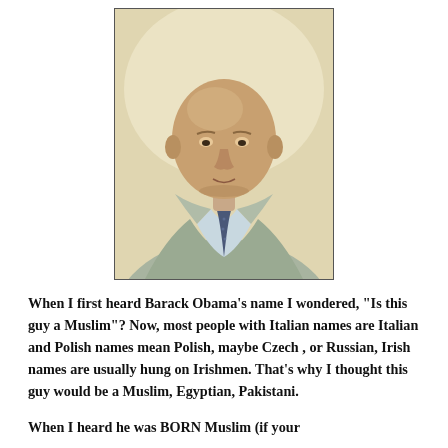[Figure (photo): Portrait photo of an older bald man wearing a light grey suit jacket, white dress shirt, and dark dotted tie, photographed against a light yellowish background]
When I first heard Barack Obama's name I wondered, “Is this guy a Muslim”? Now, most people with Italian names are Italian and Polish names mean Polish, maybe Czech , or Russian, Irish names are usually hung on Irishmen. That’s why I thought this guy would be a Muslim, Egyptian, Pakistani.
When I heard he was BORN Muslim (if your